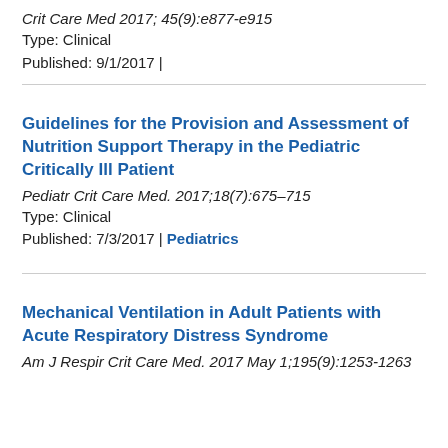Crit Care Med 2017; 45(9):e877-e915
Type: Clinical
Published: 9/1/2017 |
Guidelines for the Provision and Assessment of Nutrition Support Therapy in the Pediatric Critically Ill Patient
Pediatr Crit Care Med. 2017;18(7):675–715
Type: Clinical
Published: 7/3/2017 | Pediatrics
Mechanical Ventilation in Adult Patients with Acute Respiratory Distress Syndrome
Am J Respir Crit Care Med. 2017 May 1;195(9):1253-1263